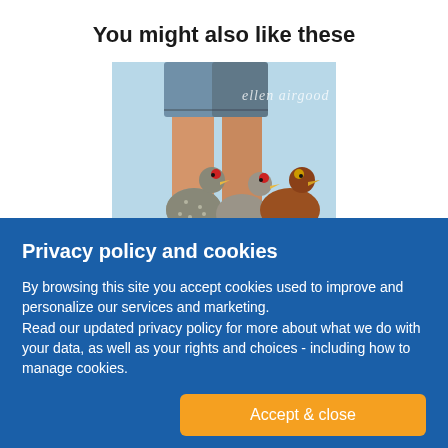You might also like these
[Figure (photo): Book cover by Ellen Airgood showing legs in denim shorts with three chickens below, light blue background. Text 'ellen airgood' visible at top right.]
Privacy policy and cookies
By browsing this site you accept cookies used to improve and personalize our services and marketing.
Read our updated privacy policy for more about what we do with your data, as well as your rights and choices - including how to manage cookies.